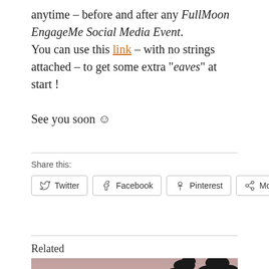anytime – before and after any FullMoon EngageMe Social Media Event. You can use this link – with no strings attached – to get some extra "eaves" at start ! See you soon ☺
Share this:
Twitter  Facebook  Pinterest  More
Related
[Figure (photo): Silhouette of a tree against a dusky pinkish-mauve sky]